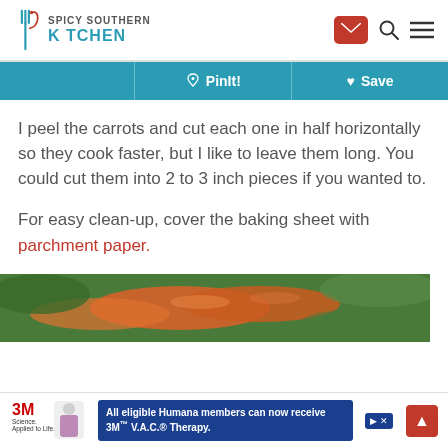Spicy Southern Kitchen — header with logo, email, search, menu icons
[Figure (screenshot): Teal toolbar with Pinterest PinIt! and Save buttons]
I peel the carrots and cut each one in half horizontally so they cook faster, but I like to leave them long. You could cut them into 2 to 3 inch pieces if you wanted to.
For easy clean-up, cover the baking sheet with parchment paper.
[Figure (photo): Close-up photo of fresh carrots and greens]
[Figure (screenshot): Advertisement bar: 3M Science Applied to Life logo, Humana ad text, close buttons, scroll-to-top red button]